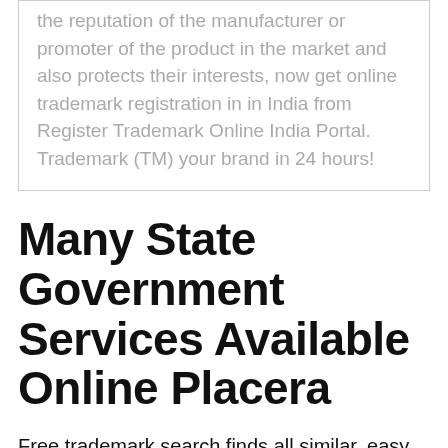the reputation of the manufacturer or promoter of the product in the market and also protects their interests, now get online trademark registration in in India from Register Trademark Online India Portal. Trademark (TM) your brand in 24 hours!
Many State Government Services Available Online Placera
Free trademark search finds all similar, easy online US trademark registration in 5 mins, pay only if trademark attorney advice positive. Fees from only $99, high client rating, protect business name, and